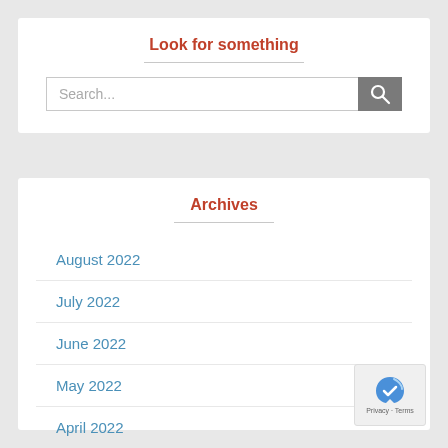Look for something
August 2022
July 2022
June 2022
May 2022
April 2022
March 2022